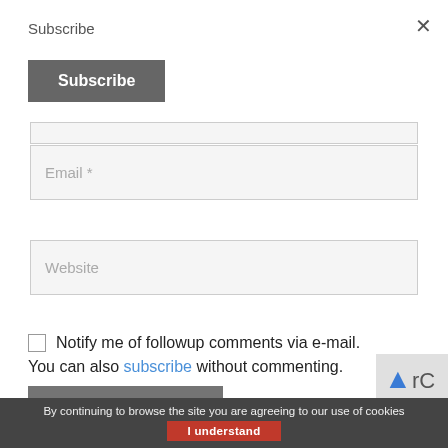Subscribe
[Figure (screenshot): Close (x) button in upper right of modal]
[Figure (screenshot): Subscribe button - dark gray rounded rectangle with white bold text]
[Figure (screenshot): Partially visible text input field (top, cut off)]
[Figure (screenshot): Email * text input field]
[Figure (screenshot): Website text input field]
Notify me of followup comments via e-mail.
You can also subscribe without commenting.
[Figure (screenshot): Post Comment button - dark gray rectangle with white text]
[Figure (screenshot): Partial reCAPTCHA widget visible at bottom right]
By continuing to browse the site you are agreeing to our use of cookies  I understand